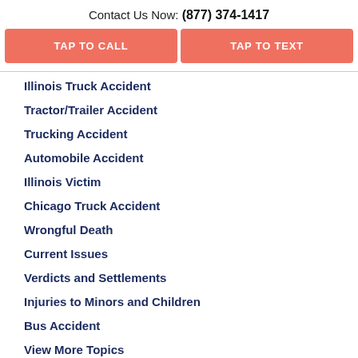Contact Us Now: (877) 374-1417
TAP TO CALL
TAP TO TEXT
Illinois Truck Accident
Tractor/Trailer Accident
Trucking Accident
Automobile Accident
Illinois Victim
Chicago Truck Accident
Wrongful Death
Current Issues
Verdicts and Settlements
Injuries to Minors and Children
Bus Accident
View More Topics